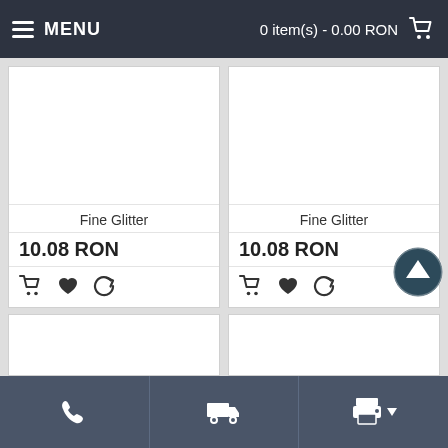MENU   0 item(s) - 0.00 RON
[Figure (screenshot): Product card: Fine Glitter, 10.08 RON, with cart, heart, and refresh action icons]
[Figure (screenshot): Product card: Fine Glitter, 10.08 RON, with cart, heart, and refresh action icons]
Phone | Truck | Print icons bottom navigation bar